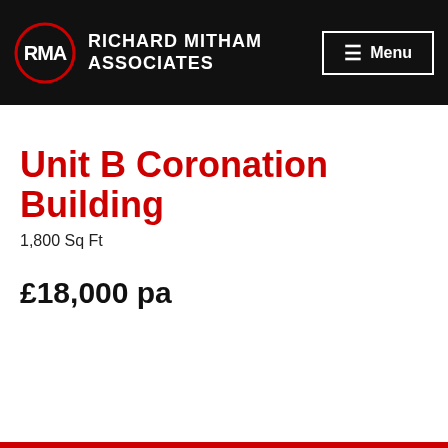RMA RICHARD MITHAM ASSOCIATES | Menu
Unit B Coronation Building
1,800 Sq Ft
£18,000 pa